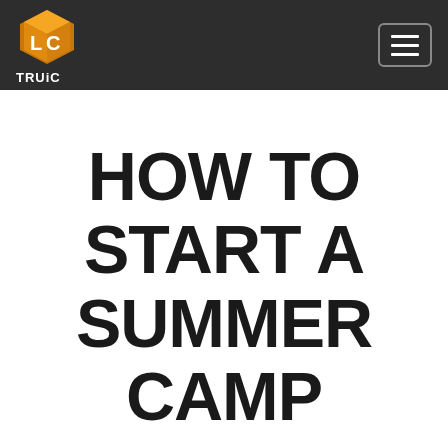TRUiC
HOW TO START A SUMMER CAMP
Successful summer camp business owners respond